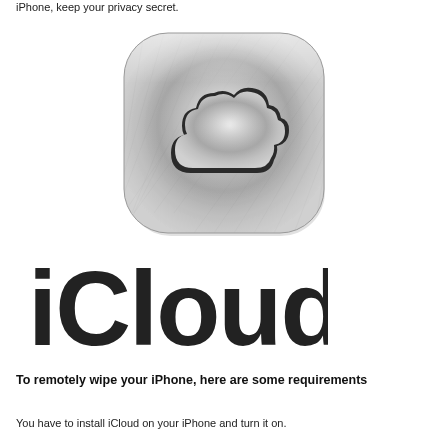iPhone, keep your privacy secret.
[Figure (logo): iCloud app icon — a rounded-rectangle silver metallic button with a brushed-metal cloud silhouette in dark gray/black on a radial silver gradient background]
[Figure (logo): iCloud wordmark in large bold dark gray sans-serif text]
To remotely wipe your iPhone, here are some requirements
You have to install iCloud on your iPhone and turn it on